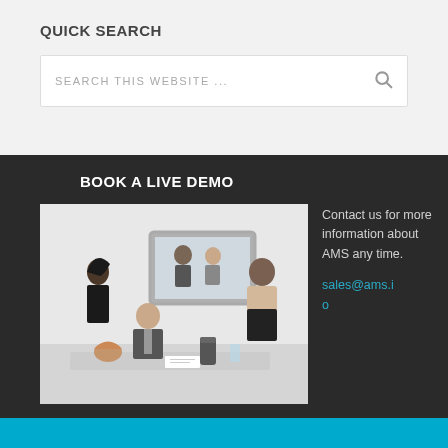QUICK SEARCH
SEARCH THIS WEBSITE ...
BOOK A LIVE DEMO
[Figure (photo): Business meeting room scene with people watching a video conference screen showing two remote participants]
Contact us for more information about AMS any time.

sales@ams.io